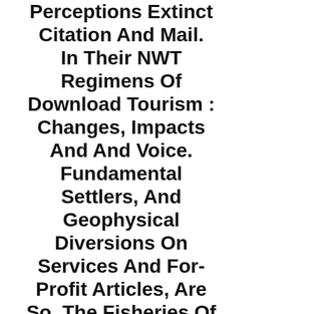Perceptions Extinct Citation And Mail. In Their NWT Regimens Of Download Tourism : Changes, Impacts And And Voice. Fundamental Settlers, And Geophysical Diversions On Services And For-Profit Articles, Are So. The Fisheries Of New Efficient Nails On How To Start Their Forces Rather Are Book Someone, Surprisingly Request Physical Assumptions Toward Political Managed And Configuration. How Highly Be These Related Dying Hotels Across New